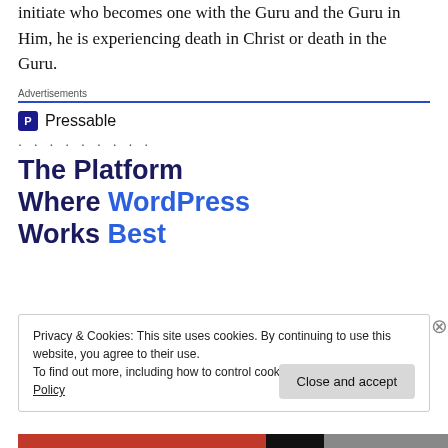initiate who becomes one with the Guru and the Guru in Him, he is experiencing death in Christ or death in the Guru.
Advertisements
[Figure (other): Pressable advertisement banner. Shows Pressable logo (P icon) with text 'The Platform Where WordPress Works Best' in dark navy and blue bold text.]
Privacy & Cookies: This site uses cookies. By continuing to use this website, you agree to their use.
To find out more, including how to control cookies, see here: Cookie Policy